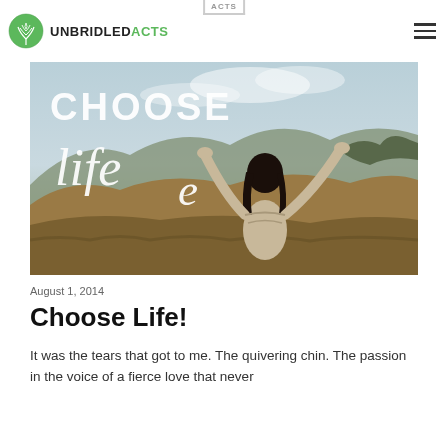UNBRIDLED ACTS
[Figure (photo): Woman with arms raised against a landscape of rolling hills and sky, with overlaid text reading CHOOSE life! in large white script/serif fonts]
August 1, 2014
Choose Life!
It was the tears that got to me. The quivering chin. The passion in the voice of a fierce love that never